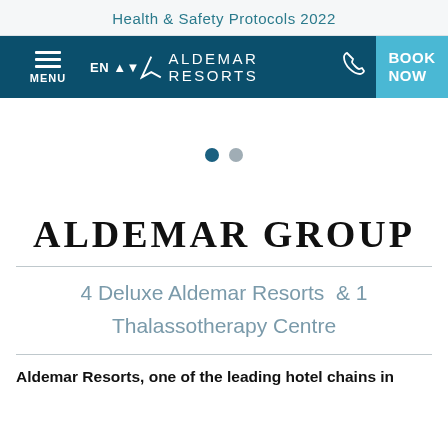Health & Safety Protocols 2022
[Figure (screenshot): Aldemar Resorts website navigation bar with hamburger menu (MENU), EN language selector, Aldemar Resorts logo, phone icon, and BOOK NOW button on dark teal background with light blue book now button]
[Figure (other): Slider pagination dots: one dark teal (active) and one gray (inactive)]
ALDEMAR GROUP
4 Deluxe Aldemar Resorts  & 1 Thalassotherapy Centre
Aldemar Resorts, one of the leading hotel chains in